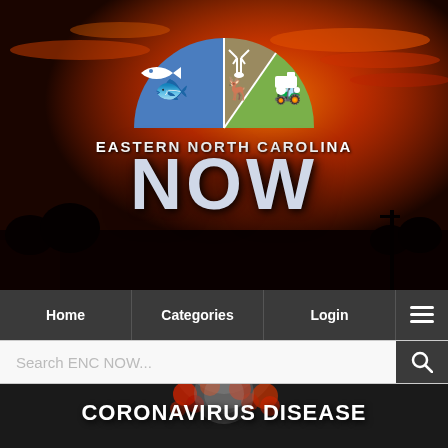[Figure (screenshot): Eastern North Carolina NOW website header banner with sunset sky background, semicircle logo with fishing, hunting, and farming icons, and large 'EASTERN NORTH CAROLINA NOW' text]
[Figure (screenshot): Navigation bar with Home, Categories, Login menu items and hamburger icon]
[Figure (screenshot): Search bar with placeholder text 'Search ENC NOW...' and search icon]
CORONAVIRUS DISEASE
[Figure (photo): Close-up image of coronavirus particle in dark background, partially visible at bottom of page]